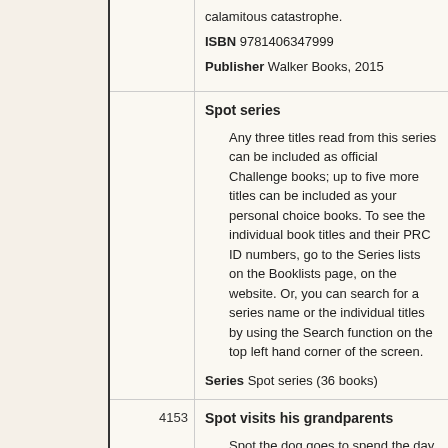calamitous catastrophe.
ISBN 9781406347999
Publisher Walker Books, 2015
Spot series
Any three titles read from this series can be included as official Challenge books; up to five more titles can be included as your personal choice books. To see the individual book titles and their PRC ID numbers, go to the Series lists on the Booklists page, on the website. Or, you can search for a series name or the individual titles by using the Search function on the top left hand corner of the screen.
Series Spot series (36 books)
4153
Spot visits his grandparents
Spot the dog goes to spend the day with his grandparents.